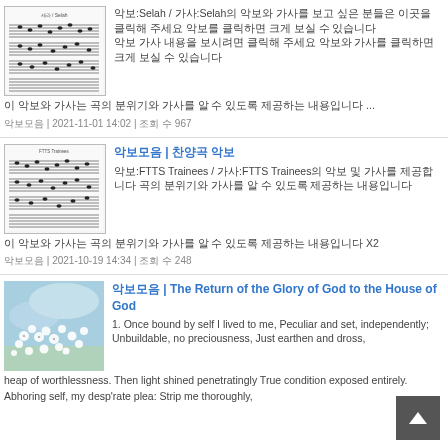[Figure (other): Thumbnail image of music sheet notation for Selah]
악보:Selah / 가사:Selah의 악보와 가사를 보고 싶은 분들은 이곳을 클릭해 주세요 악보를 클릭하면 크게 보실 수 있습니다
이 악보와 가사는 곡의 분위기와 가사를 알 수 있도록 제공하는 내용입니다 ...
악보모음 | 2021-11-01 14:02 | 조회 수 967
[Figure (other): Thumbnail image of music sheet notation for FTTS Trainees]
악보모음 | 찬양곡 악보
악보:FTTS Trainees / 가사:FTTS Trainees의 악보 및 가사를 제공합니다 곡의 분위기와 가사를 알 수 있도록 제공하는 내용입니다
이 악보와 가사는 곡의 분위기와 가사를 알 수 있도록 제공하는 내용입니다 X2
악보모음 | 2021-10-19 14:34 | 조회 수 248
[Figure (photo): Photo of white blossoms and blue sky]
악보모음 | The Return of the Glory of God to the House of God
1. Once bound by self I lived to me, Peculiar and set, independently; Unbuildable, no preciousness, Just earthen and dross, heap of worthlessness. Then light shined penetratingly True condition exposed entirely. Abhoring self, my desp'rate plea: Strip me thoroughly,